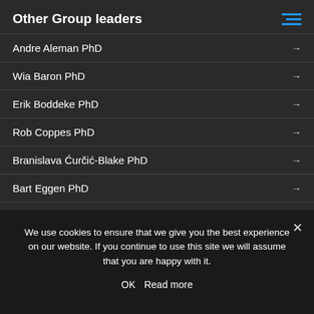Other Group leaders
Andre Aleman PhD
Wia Baron PhD
Erik Boddeke PhD
Rob Coppes PhD
Branislava Ćurčić-Blake PhD
Bart Eggen PhD
Janniko Georgiadis PhD
Ben Giepmans PhD
Mark S. Hipp PhD
We use cookies to ensure that we give you the best experience on our website. If you continue to use this site we will assume that you are happy with it.
OK   Read more